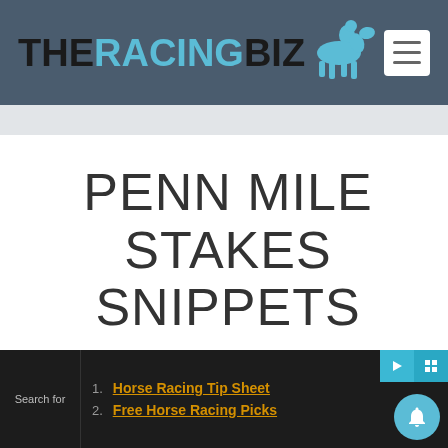THE RACING BIZ
PENN MILE STAKES SNIPPETS
1. Horse Racing Tip Sheet
2. Free Horse Racing Picks
Search for